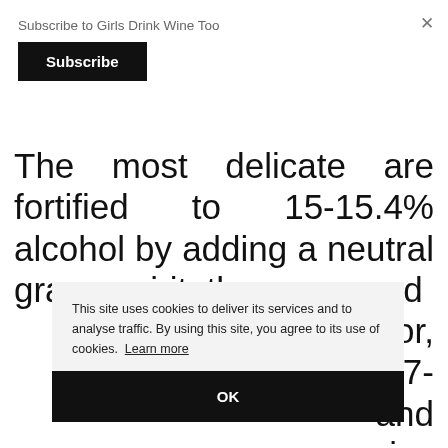Subscribe to Girls Drink Wine Too
Subscribe
The most delicate are fortified to 15-15.4% alcohol by adding a neutral grape spirit, then are aged lor, 17- and ive
This site uses cookies to deliver its services and to analyse traffic. By using this site, you agree to its use of cookies. Learn more
OK